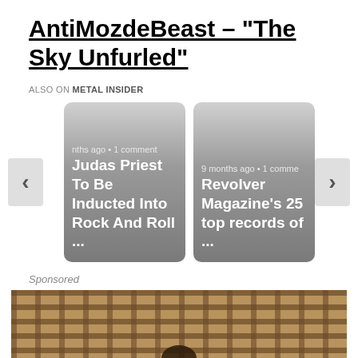AntiMozdeBeast – “The Sky Unfurled”
ALSO ON METAL INSIDER
[Figure (screenshot): Two article cards in a carousel with navigation arrows. Left card: '...nths ago • 1 comment' and 'Judas Priest To Be Inducted Into Rock And Roll ...' Right card: '9 months ago • 1 comme...' and 'Revolver Magazine’s 25 top records of ...']
Sponsored
[Figure (photo): Photo showing a wooden grid/lattice structure viewed from above with a dark figure at the bottom center]